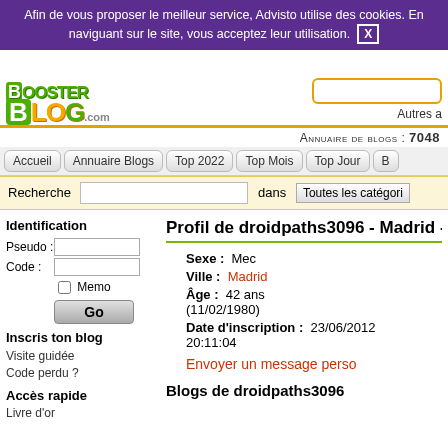Afin de vous proposer le meilleur service, Advisto utilise des cookies. En naviguant sur le site, vous acceptez leur utilisation. X
[Figure (logo): BoosterBlog.com logo in green and orange]
Autres a
Annuaire de blogs : 7048
Accueil
Annuaire Blogs
Top 2022
Top Mois
Top Jour
Recherche dans Toutes les catégoris
Identification
Pseudo :
Code :
Memo
Go
Inscris ton blog
Visite guidée
Code perdu ?
Profil de droidpaths3096 - Madrid - 42 an
Sexe : Mec
Ville : Madrid
Âge : 42 ans (11/02/1980)
Date d'inscription : 23/06/2012 20:11:04
Envoyer un message perso
Accès rapide
Livre d'or
Blogs de droidpaths3096